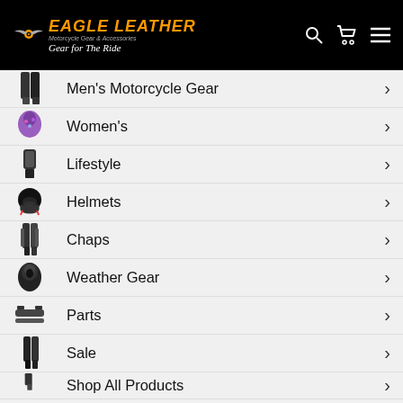[Figure (logo): Eagle Leather logo with winged emblem, orange text reading EAGLE LEATHER, subtitle Motorcycle Gear & Accessories, tagline Gear for The Ride, on black background with search, cart, and menu icons]
Men's Motorcycle Gear
Women's
Lifestyle
Helmets
Chaps
Weather Gear
Parts
Sale
Shop All Products